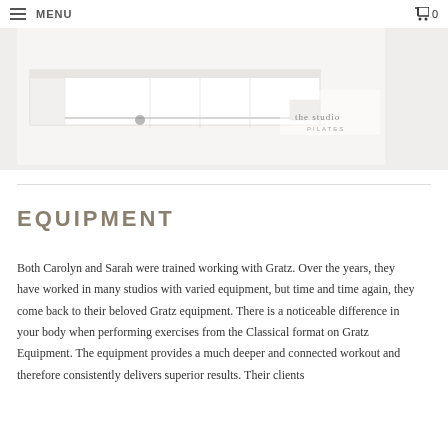MENU  0
[Figure (photo): A white Pilates reformer machine on a white background with 'the studio PILATES' text overlay in the top right corner]
EQUIPMENT
Both Carolyn and Sarah were trained working with Gratz. Over the years, they have worked in many studios with varied equipment, but time and time again, they come back to their beloved Gratz equipment. There is a noticeable difference in your body when performing exercises from the Classical format on Gratz Equipment. The equipment provides a much deeper and connected workout and therefore consistently delivers superior results. Their clients (and Carolyn and Sarah) have a true love and passion for the Gratz equipment.